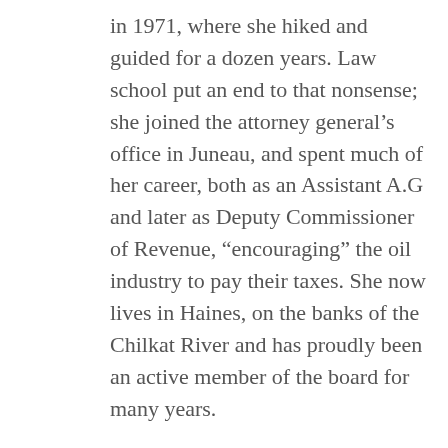in 1971, where she hiked and guided for a dozen years. Law school put an end to that nonsense; she joined the attorney general's office in Juneau, and spent much of her career, both as an Assistant A.G and later as Deputy Commissioner of Revenue, “encouraging” the oil industry to pay their taxes. She now lives in Haines, on the banks of the Chilkat River and has proudly been an active member of the board for many years.